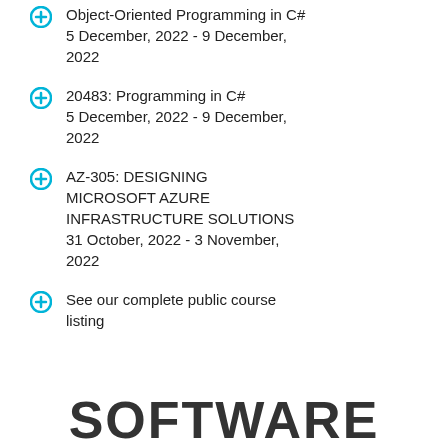Object-Oriented Programming in C#
5 December, 2022 - 9 December, 2022
20483: Programming in C#
5 December, 2022 - 9 December, 2022
AZ-305: DESIGNING MICROSOFT AZURE INFRASTRUCTURE SOLUTIONS
31 October, 2022 - 3 November, 2022
See our complete public course listing
SOFTWARE